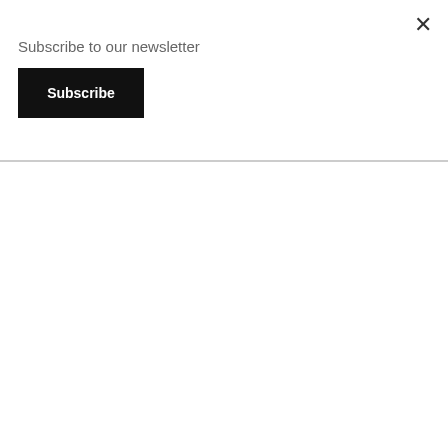Subscribe to our newsletter
Subscribe
brought tears to my eyes. The sweetness of the song combined with the clear joy being had by the performers of DeepBlue creates a wonderous experience that goes beyond language. One of the values of DeepBlue is creating long lasting, meaningful experiences, and this is the track that did that for me.

Next was a super fun medley of music from